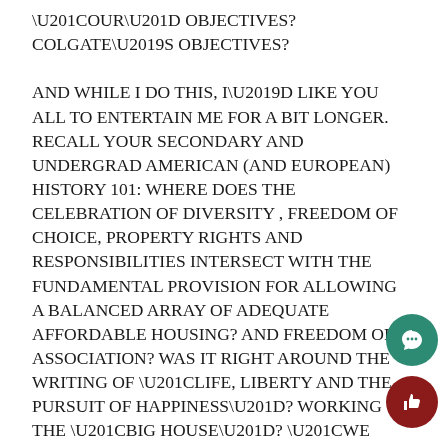“OUR” OBJECTIVES? COLGATE’S OBJECTIVES?

AND WHILE I DO THIS, I’D LIKE YOU ALL TO ENTERTAIN ME FOR A BIT LONGER. RECALL YOUR SECONDARY AND UNDERGRAD AMERICAN (AND EUROPEAN) HISTORY 101: WHERE DOES THE CELEBRATION OF DIVERSITY , FREEDOM OF CHOICE, PROPERTY RIGHTS AND RESPONSIBILITIES INTERSECT WITH THE FUNDAMENTAL PROVISION FOR ALLOWING A BALANCED ARRAY OF ADEQUATE AFFORDABLE HOUSING? AND FREEDOM OF ASSOCIATION? WAS IT RIGHT AROUND THE WRITING OF “LIFE, LIBERTY AND THE PURSUIT OF HAPPINESS”? WORKING THE “BIG HOUSE”? “WE HOLD THESE TRUTHS TO BE SELF-EVIDENT”? OR HEART-BREAKINGLY, DURING THE DAYS OF “SEPARATE BUT EQUAL”?